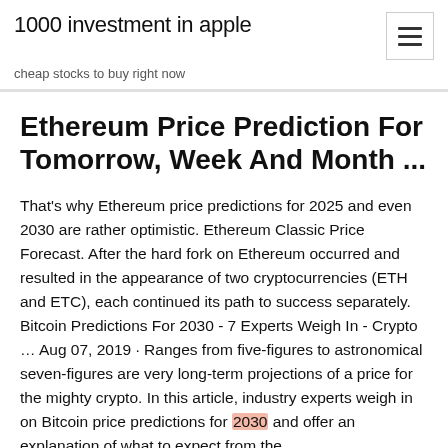1000 investment in apple
cheap stocks to buy right now
Ethereum Price Prediction For Tomorrow, Week And Month ...
That's why Ethereum price predictions for 2025 and even 2030 are rather optimistic. Ethereum Classic Price Forecast. After the hard fork on Ethereum occurred and resulted in the appearance of two cryptocurrencies (ETH and ETC), each continued its path to success separately. Bitcoin Predictions For 2030 - 7 Experts Weigh In - Crypto ... Aug 07, 2019 · Ranges from five-figures to astronomical seven-figures are very long-term projections of a price for the mighty crypto. In this article, industry experts weigh in on Bitcoin price predictions for 2030 and offer an explanation of what to expect from the